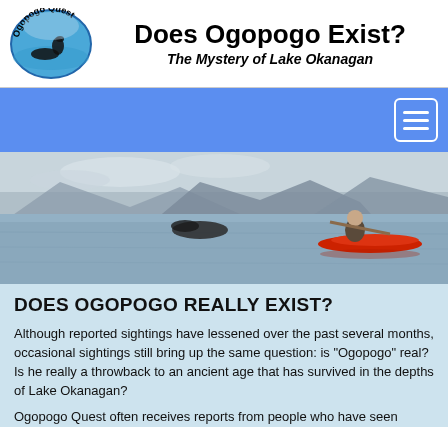[Figure (logo): Ogopogo Quest oval logo with a lake creature silhouette in water, text 'Ogopogo Quest' arched around the top]
Does Ogopogo Exist?
The Mystery of Lake Okanagan
[Figure (other): Blue navigation bar with a hamburger menu button (three white horizontal lines) in a bordered box on the right side]
[Figure (photo): Wide lake scene at dusk/overcast with mountains in background, a dark hump-like shape in the water, and a person in a red kayak on the right side]
DOES OGOPOGO REALLY EXIST?
Although reported sightings have lessened over the past several months, occasional sightings still bring up the same question: is "Ogopogo" real? Is he really a throwback to an ancient age that has survived in the depths of Lake Okanagan?
Ogopogo Quest often receives reports from people who have seen